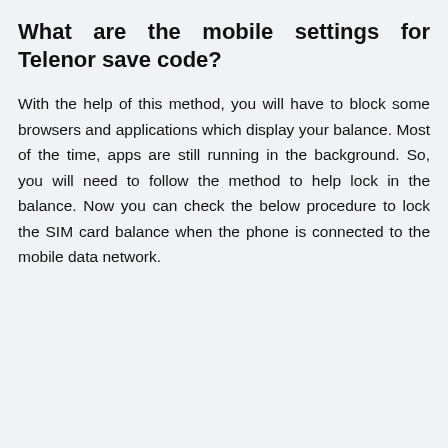What are the mobile settings for Telenor save code?
With the help of this method, you will have to block some browsers and applications which display your balance. Most of the time, apps are still running in the background. So, you will need to follow the method to help lock in the balance. Now you can check the below procedure to lock the SIM card balance when the phone is connected to the mobile data network.